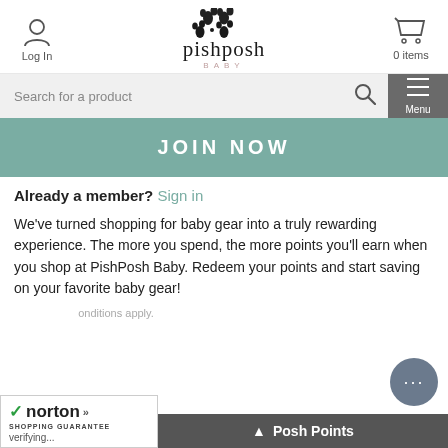[Figure (logo): PishPosh Baby logo with paw print icon and text]
Log In
0 items
Search for a product
Menu
JOIN NOW
Already a member? Sign in
We've turned shopping for baby gear into a truly rewarding experience. The more you spend, the more points you'll earn when you shop at PishPosh Baby. Redeem your points and start saving on your favorite baby gear!
[Figure (logo): Norton Shopping Guarantee badge with checkmark]
verifying...
Posh Points